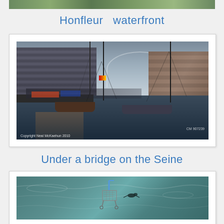[Figure (photo): Partial top strip of a previous photo (cropped, nature/foliage scene)]
Honfleur  waterfront
[Figure (photo): Honfleur waterfront scene with sailboats moored in the harbor, historic buildings in background, rainbow visible, overcast sky. Copyright Neal McKaehun 2010. Boat number CM 907239 visible.]
Under a bridge on the Seine
[Figure (photo): View from under a bridge on the Seine river, showing blue-green water with a submerged shopping cart and a bird visible.]